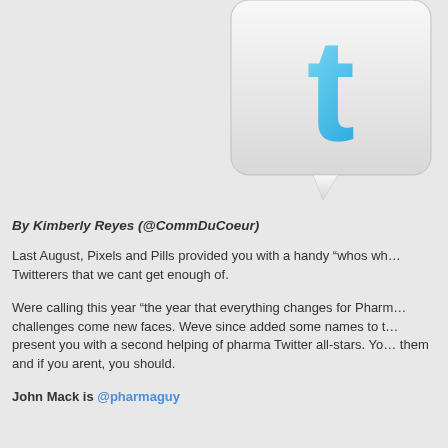[Figure (logo): Twitter bird logo icon on a white speech bubble shaped card with rounded corners, set against a light gray background]
By Kimberly Reyes (@CommDuCoeur)
Last August, Pixels and Pills provided you with a handy “whos wh… Twitterers that we cant get enough of.
Were calling this year “the year that everything changes for Pharm… challenges come new faces. Weve since added some names to t… present you with a second helping of pharma Twitter all-stars. Yo… them and if you arent, you should.
John Mack is @pharmaguy